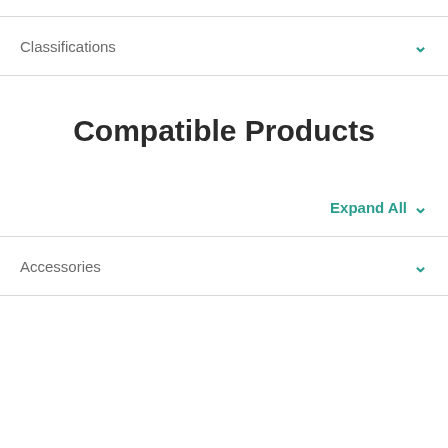Classifications
Compatible Products
Expand All
Accessories